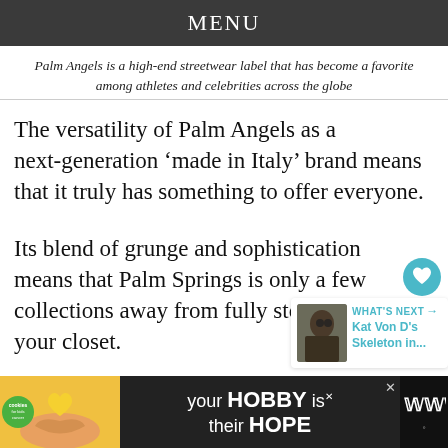MENU
Palm Angels is a high-end streetwear label that has become a favorite among athletes and celebrities across the globe
The versatility of Palm Angels as a next-generation ‘made in Italy’ brand means that it truly has something to offer everyone.
Its blend of grunge and sophistication means that Palm Springs is only a few collections away from fully stocking your closet.
[Figure (screenshot): What's Next promotional widget showing a thumbnail photo of a person with sunglasses. Text reads: WHAT'S NEXT arrow, Kat Von D's Skeleton in...]
[Figure (infographic): Advertisement banner at bottom: cookies for kids cancer logo, yellow heart held in hands photo, text 'your HOBBY is their HOPE', close button X, and Wondery logo on right]